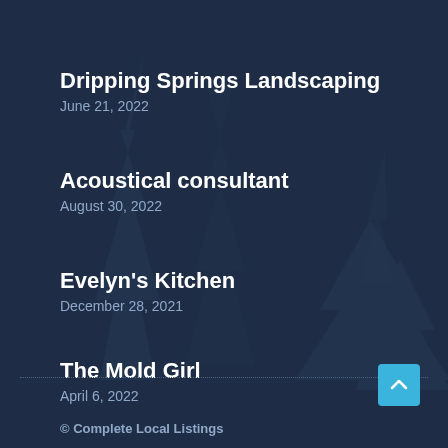Dripping Springs Landscaping
June 21, 2022
Acoustical consultant
August 30, 2022
Evelyn's Kitchen
December 28, 2021
The Mold Girl
April 6, 2022
© Complete Local Listings